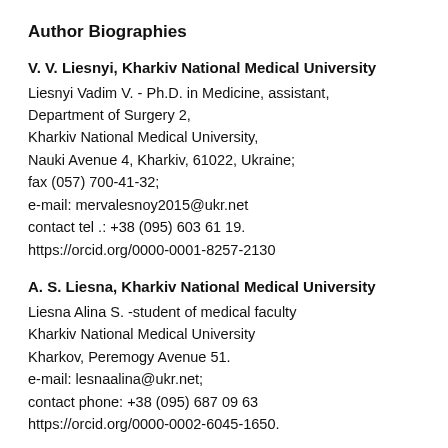Author Biographies
V. V. Liesnyi, Kharkiv National Medical University
Liesnyi Vadim V. - Ph.D. in Medicine, assistant, Department of Surgery 2, Kharkiv National Medical University, Nauki Avenue 4, Kharkiv, 61022, Ukraine; fax (057) 700-41-32; e-mail: mervalesnoy2015@ukr.net contact tel .: +38 (095) 603 61 19. https://orcid.org/0000-0001-8257-2130
A. S. Liesna, Kharkiv National Medical University
Liesna Alina S. -student of medical faculty Kharkiv National Medical University Kharkov, Peremogy Avenue 51. e-mail: lesnaalina@ukr.net; contact phone: +38 (095) 687 09 63 https://orcid.org/0000-0002-6045-1650.